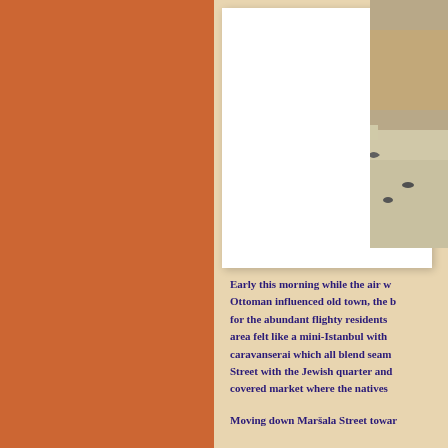[Figure (photo): Outdoor square with pigeons on the ground and a stone monument or fountain base, with buildings in the background. Appears to be an Ottoman-influenced old town area.]
Early this morning while the air w... Ottoman influenced old town, the b... for the abundant flighty residents ... area felt like a mini-Istanbul with ... caravanserai which all blend seam... Street with the Jewish quarter and ... covered market where the natives ...
Moving down Maršala Street towar...